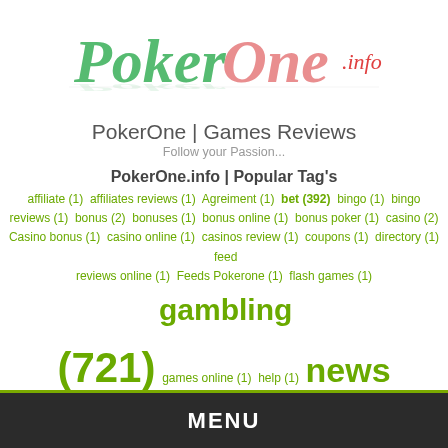[Figure (logo): PokerOne.info logo with green 'Poker' text and pink 'One' text, handwritten style, with reflection]
PokerOne | Games Reviews
Follow your Passion...
PokerOne.info | Popular Tag's
affiliate (1) affiliates reviews (1) Agreiment (1) bet (392) bingo (1) bingo reviews (1) bonus (2) bonuses (1) bonus online (1) bonus poker (1) casino (2) Casino bonus (1) casino online (1) casinos review (1) coupons (1) directory (1) feed reviews online (1) Feeds Pokerone (1) flash games (1) gambling (721) games online (1) help (1) news (3266) offers (1) online (1) poker (1) poker one (1) pokerone (2) poker online (1) promotes (1) reviews (1) rss gambling (1) rss games online (1) site (1) sports (1) sportsbooks (1) sports real time (1) videos (1)
MENU